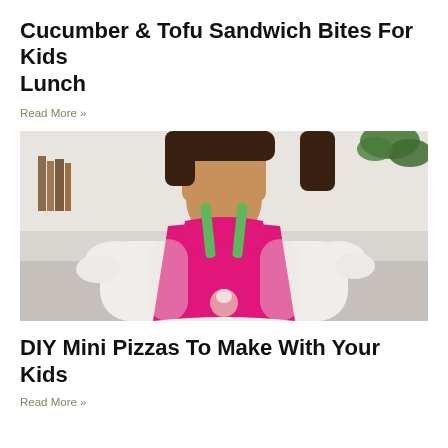Cucumber & Tofu Sandwich Bites For Kids Lunch
Read More »
[Figure (photo): A young girl wearing a white ruffled shirt and a bright pink chef apron with green neck straps, standing in a kitchen setting.]
DIY Mini Pizzas To Make With Your Kids
Read More »